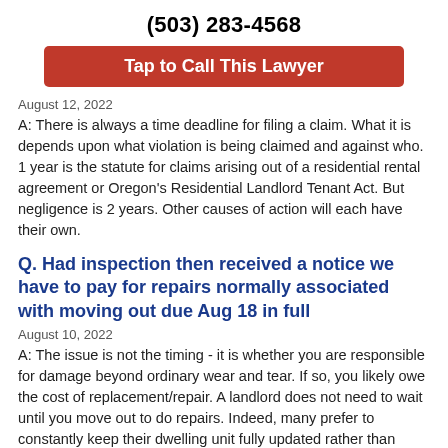(503) 283-4568
[Figure (other): Red call-to-action button labeled 'Tap to Call This Lawyer']
August 12, 2022
A: There is always a time deadline for filing a claim. What it is depends upon what violation is being claimed and against who. 1 year is the statute for claims arising out of a residential rental agreement or Oregon's Residential Landlord Tenant Act. But negligence is 2 years. Other causes of action will each have their own.
Q. Had inspection then received a notice we have to pay for repairs normally associated with moving out due Aug 18 in full
August 10, 2022
A: The issue is not the timing - it is whether you are responsible for damage beyond ordinary wear and tear. If so, you likely owe the cost of replacement/repair. A landlord does not need to wait until you move out to do repairs. Indeed, many prefer to constantly keep their dwelling unit fully updated rather than allow it to slowly decay until a tenant elects to